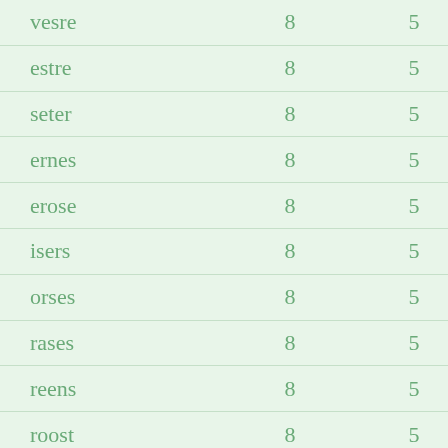| vesre | 8 | 5 |
| estre | 8 | 5 |
| seter | 8 | 5 |
| ernes | 8 | 5 |
| erose | 8 | 5 |
| isers | 8 | 5 |
| orses | 8 | 5 |
| rases | 8 | 5 |
| reens | 8 | 5 |
| roost | 8 | 5 |